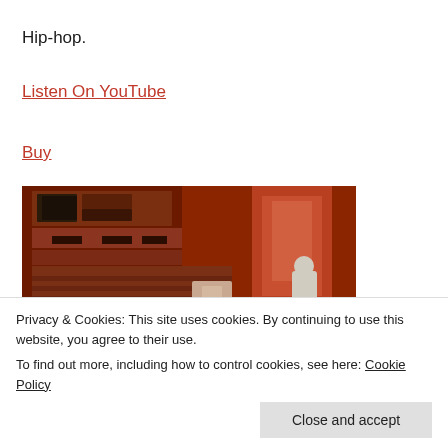Hip-hop.
Listen On YouTube
Buy
[Figure (illustration): Album cover for 'Mindscape Phantoms' — a dark orange/rust-toned urban building facade viewed from below at an angle, with the text 'MINDSCAPE' in spaced white letters and 'PHANTOMS' in large bold white letters at the bottom.]
Privacy & Cookies: This site uses cookies. By continuing to use this website, you agree to their use.
To find out more, including how to control cookies, see here: Cookie Policy
Close and accept